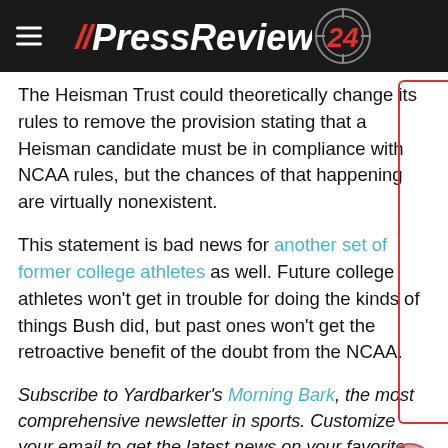// PressReview 24
The Heisman Trust could theoretically change its rules to remove the provision stating that a Heisman candidate must be in compliance with NCAA rules, but the chances of that happening are virtually nonexistent.
This statement is bad news for another set of former college athletes as well. Future college athletes won't get in trouble for doing the kinds of things Bush did, but past ones won't get the retroactive benefit of the doubt from the NCAA.
Subscribe to Yardbarker's Morning Bark, the most comprehensive newsletter in sports. Customize your email to get the latest news on your favorite sports,